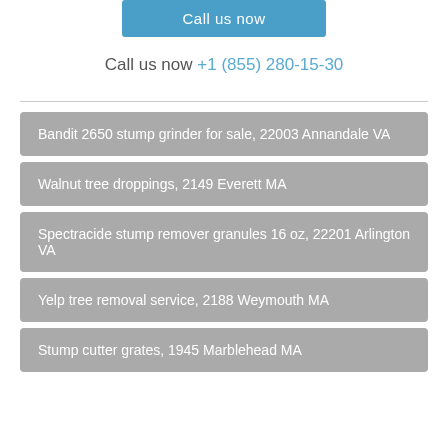Call us now
Call us now +1 (855) 280-15-30
Bandit 2650 stump grinder for sale, 22003 Annandale VA
Walnut tree droppings, 2149 Everett MA
Spectracide stump remover granules 16 oz, 22201 Arlington VA
Yelp tree removal service, 2188 Weymouth MA
Stump cutter grates, 1945 Marblehead MA